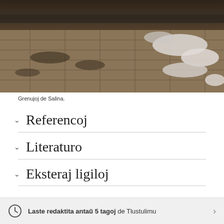[Figure (photo): Photograph of a muddy and snowy pavement/sidewalk area beside a road in Salina, showing wet and icy stone tiles with snow patches.]
Grenujoj de Salina.
Referencoj
Literaturo
Eksteraj ligiloj
Laste redaktita antaŭ 5 tagoj de Tlustulimu